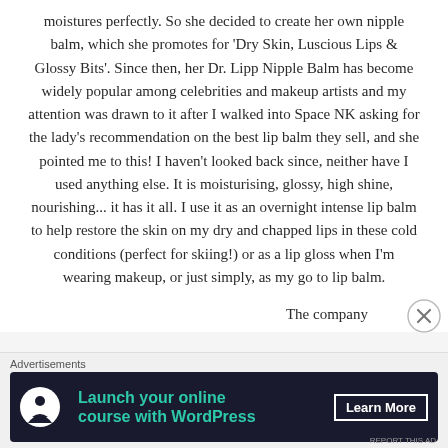moistures perfectly. So she decided to create her own nipple balm, which she promotes for 'Dry Skin, Luscious Lips & Glossy Bits'. Since then, her Dr. Lipp Nipple Balm has become widely popular among celebrities and makeup artists and my attention was drawn to it after I walked into Space NK asking for the lady's recommendation on the best lip balm they sell, and she pointed me to this! I haven't looked back since, neither have I used anything else. It is moisturising, glossy, high shine, nourishing... it has it all. I use it as an overnight intense lip balm to help restore the skin on my dry and chapped lips in these cold conditions (perfect for skiing!) or as a lip gloss when I'm wearing makeup, or just simply, as my go to lip balm.
The company
[Figure (other): Close/dismiss button (circled X icon)]
Advertisements
[Figure (other): Advertisement banner: dark background with tree/person icon, teal text 'Launch your online course with WordPress', white 'Learn More' button]